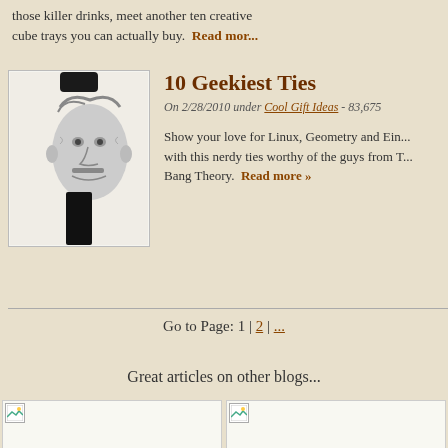those killer drinks, meet another ten creative cube trays you can actually buy. Read more
10 Geekiest Ties
On 2/28/2010 under Cool Gift Ideas - 83,675
[Figure (photo): Black-and-white photo of a necktie featuring Einstein's face printed on it]
Show your love for Linux, Geometry and Ein... with this nerdy ties worthy of the guys from T... Bang Theory. Read more »
Go to Page: 1 | 2 | ...
Great articles on other blogs...
[Figure (photo): Placeholder thumbnail image (broken/loading)]
[Figure (photo): Placeholder thumbnail image (broken/loading)]